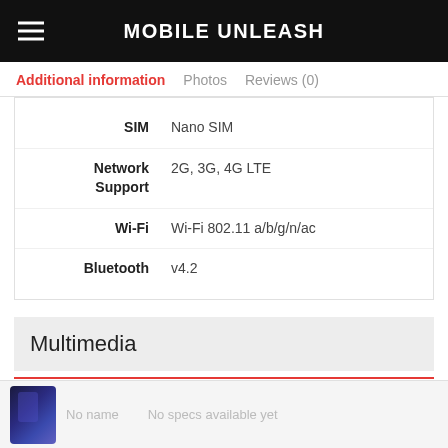MOBILE UNLEASH
Additional information | Photos | Reviews (0)
| Attribute | Value |
| --- | --- |
| SIM | Nano SIM |
| Network Support | 2G, 3G, 4G LTE |
| Wi-Fi | Wi-Fi 802.11 a/b/g/n/ac |
| Bluetooth | v4.2 |
Multimedia
Headphones   3.5mm jack